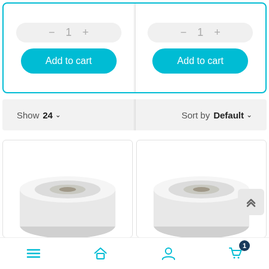[Figure (screenshot): Two quantity selectors with minus, 1, plus controls on gray pill-shaped backgrounds, and two cyan 'Add to cart' buttons below them, inside a cyan-bordered card]
[Figure (screenshot): Filter bar showing 'Show 24 v' on the left and 'Sort by Default v' on the right on a light gray background]
[Figure (screenshot): Two product cards showing rolls of white label/film material, partially visible]
[Figure (screenshot): Bottom navigation bar with menu, home, user, and cart icons; cart has badge showing 1]